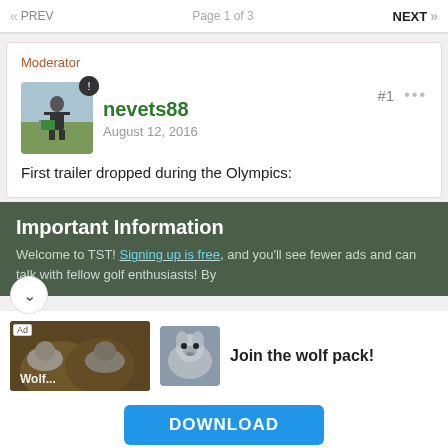« PREV   Page 1 of 3   NEXT »
Moderator
nevets88
August 12, 2016
#1  ···
First trailer dropped during the Olympics:
Important Information
Welcome to TST! Signing up is free, and you'll see fewer ads and can talk with fellow golf enthusiasts! By
[Figure (photo): Advertisement banner for wolf-themed app showing wolf images and 'Join the wolf pack!' text with a DOWNLOAD button]
Join the wolf pack!
DOWNLOAD